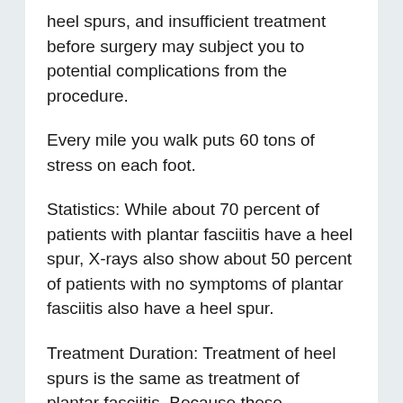heel spurs, and insufficient treatment before surgery may subject you to potential complications from the procedure.
Every mile you walk puts 60 tons of stress on each foot.
Statistics: While about 70 percent of patients with plantar fasciitis have a heel spur, X-rays also show about 50 percent of patients with no symptoms of plantar fasciitis also have a heel spur.
Treatment Duration: Treatment of heel spurs is the same as treatment of plantar fasciitis. Because these problems are related, the treatment is the same. The first step in the treatment of a heel spur is short-term rest and inflammation control.